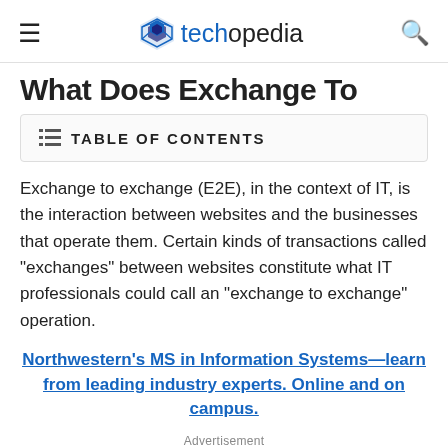techopedia
What Does Exchange To
TABLE OF CONTENTS
Exchange to exchange (E2E), in the context of IT, is the interaction between websites and the businesses that operate them. Certain kinds of transactions called "exchanges" between websites constitute what IT professionals could call an "exchange to exchange" operation.
Northwestern's MS in Information Systems—learn from leading industry experts. Online and on campus.
Advertisement